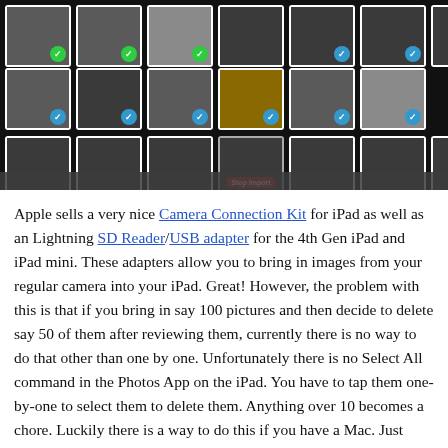[Figure (screenshot): iPad screen showing photo import grid with multiple rows of photos being imported. Green and blue checkmarks on photos indicate imported/selected status. A red 'Stop Import' button is visible at the bottom center of the screen.]
Apple sells a very nice Camera Connection Kit for iPad as well as an Lightning SD Reader/USB adapter for the 4th Gen iPad and iPad mini. These adapters allow you to bring in images from your regular camera into your iPad. Great! However, the problem with this is that if you bring in say 100 pictures and then decide to delete say 50 of them after reviewing them, currently there is no way to do that other than one by one. Unfortunately there is no Select All command in the Photos App on the iPad. You have to tap them one-by-one to select them to delete them. Anything over 10 becomes a chore. Luckily there is a way to do this if you have a Mac. Just plug your iPad into your Mac via the USB sync cable.